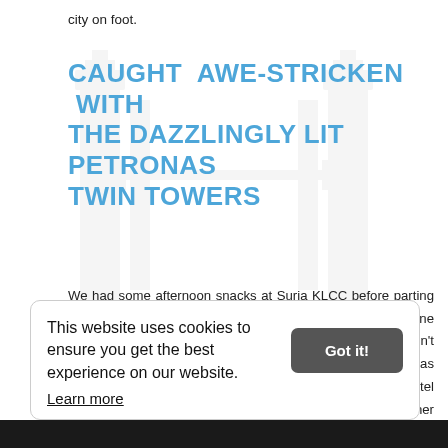city on foot.
CAUGHT AWE-STRICKEN WITH THE DAZZLINGLY LIT PETRONAS TWIN TOWERS
We had some afternoon snacks at Suria KLCC before parting ways with Melody. Soon after, Rubel and I met up with Joanne for dinner. It was such a surreal moment, since we didn't expect to be in the same country at the same time. She was on a layover in Kuala Lumpur and was booked at a hotel nearby. So when we fixed our schedules, we made dinner plans right away. I felt ecstatic, since it has been months since I last saw her. Our short
This website uses cookies to ensure you get the best experience on our website. Learn more